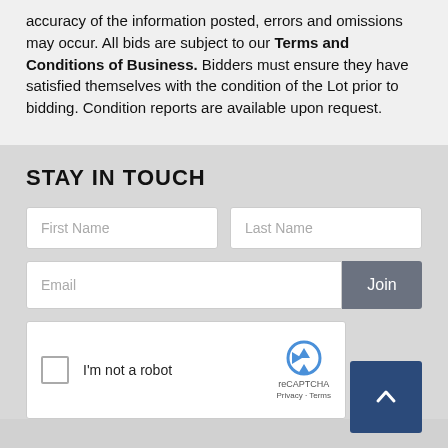accuracy of the information posted, errors and omissions may occur. All bids are subject to our Terms and Conditions of Business. Bidders must ensure they have satisfied themselves with the condition of the Lot prior to bidding. Condition reports are available upon request.
STAY IN TOUCH
[Figure (screenshot): Web form with First Name and Last Name text input fields, Email field with Join button, and reCAPTCHA widget with 'I'm not a robot' checkbox and reCAPTCHA logo. Back-to-top arrow button in bottom right.]